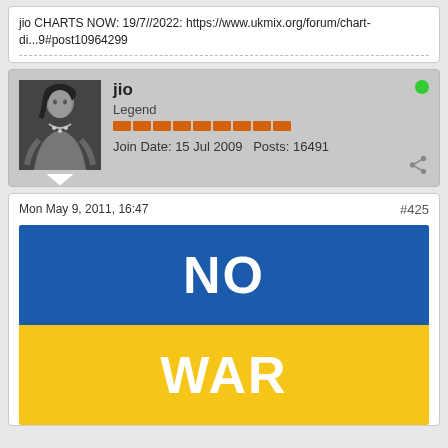jio CHARTS NOW: 19/7//2022: https://www.ukmix.org/forum/chart-di...9#post10964299
jio
Legend
Join Date: 15 Jul 2009   Posts: 16491
Mon May 9, 2011, 16:47
#425
[Figure (illustration): Ukrainian flag split blue on top and yellow on bottom with text NO on blue section and WAR on yellow section]